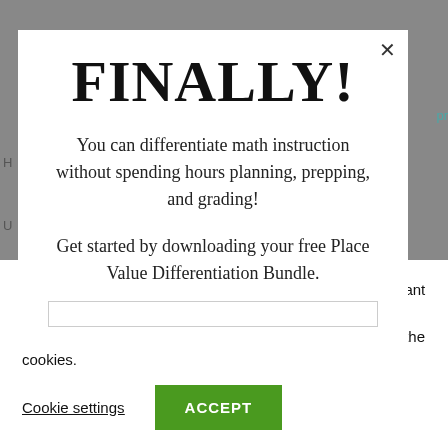FINALLY!
You can differentiate math instruction without spending hours planning, prepping, and grading!
Get started by downloading your free Place Value Differentiation Bundle.
We use cookies on our website to give you the most relevant experience by remembering your preferences and repeat visits. By clicking “Accept”, you consent to the use of ALL the cookies.
Cookie settings
ACCEPT